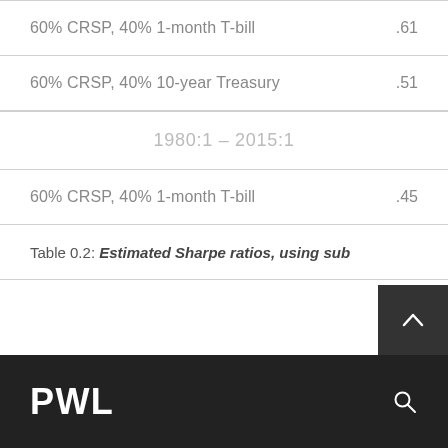| Portfolio | Value |
| --- | --- |
| 60% CRSP, 40% 1-month T-bill | .61 |
| 60% CRSP, 40% 10-year Treasury | .51 |
| 1980:1 – 2015:1 |  |
| 60% CRSP, 40% 1-month T-bill | .45 |
| 60% CRSP, 40% 10-year Treasury | .67 |
Table 0.2: Estimated Sharpe ratios, using sub...